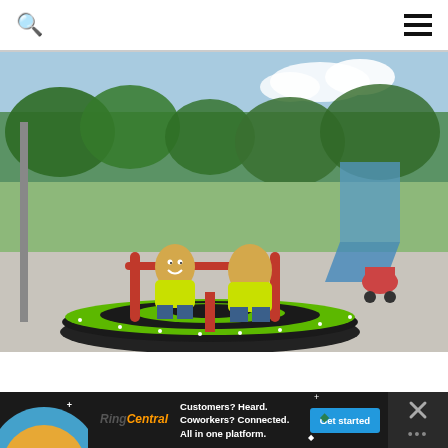Search icon and hamburger menu navigation
[Figure (photo): Two young children sitting on a colorful green and black spinning merry-go-round at a playground on a sunny day. One child is wearing a yellow shirt and facing away from the camera, and the other child in yellow is smiling. In the background there is playground equipment including a blue slide, trees, green grass, and a woman pushing a stroller.]
[Figure (other): RingCentral advertisement banner. Text reads: Customers? Heard. Coworkers? Connected. All in one platform. With a Get started button and close/dismiss button on the right.]